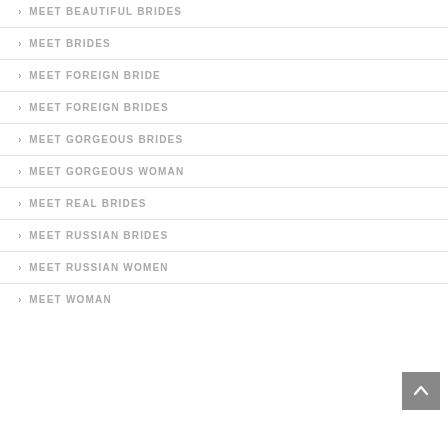MEET BEAUTIFUL BRIDES
MEET BRIDES
MEET FOREIGN BRIDE
MEET FOREIGN BRIDES
MEET GORGEOUS BRIDES
MEET GORGEOUS WOMAN
MEET REAL BRIDES
MEET RUSSIAN BRIDES
MEET RUSSIAN WOMEN
MEET WOMAN